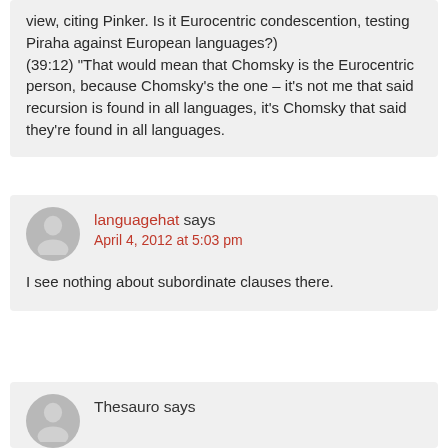view, citing Pinker. Is it Eurocentric condescention, testing Piraha against European languages?) (39:12) “That would mean that Chomsky is the Eurocentric person, because Chomsky's the one – it's not me that said recursion is found in all languages, it's Chomsky that said they're found in all languages.
languagehat says April 4, 2012 at 5:03 pm
I see nothing about subordinate clauses there.
Thesauro says